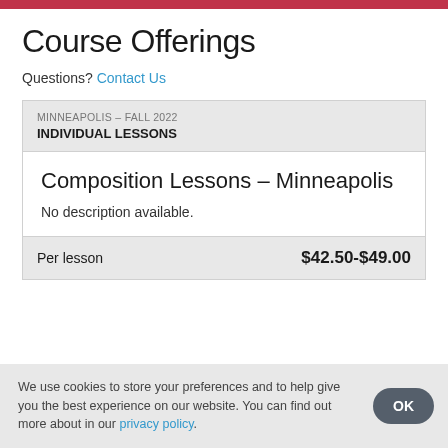Course Offerings
Questions? Contact Us
MINNEAPOLIS – FALL 2022 INDIVIDUAL LESSONS
Composition Lessons – Minneapolis
No description available.
Per lesson $42.50-$49.00
We use cookies to store your preferences and to help give you the best experience on our website. You can find out more about in our privacy policy.